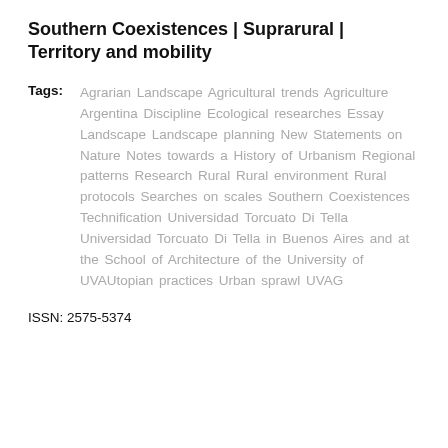Southern Coexistences | Suprarural | Territory and mobility
Tags: Agrarian Landscape Agricultural trends Agriculture Argentina Discipline Ecological researches Essay Landscape Landscape planning New Statements on Nature Notes towards a History of Urbanism Regional patterns Research Rural Rural environment Rural protocols Searches on scales Southern Coexistences Technification Universidad Torcuato Di Tella Universidad Torcuato Di Tella in Buenos Aires and at the School of Architecture of the University of UVAUtopian practices Urban sprawl UVAG
ISSN: 2575-5374